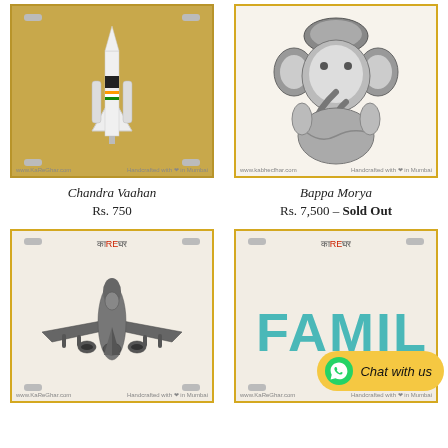[Figure (photo): Model of a white rocket/space launch vehicle on a display stand with Indian flag colors, golden background, license plate style frame]
Chandra Vaahan
Rs. 750
[Figure (photo): Decorative metallic Ganesha figurine, dark silver/brass finish with ornate details, on cream background with golden border]
Bappa Morya
Rs. 7,500 – Sold Out
[Figure (photo): Model of a military jet fighter aircraft (front view), dark grey, on cream background in license plate style frame with KaReGhar brand logo]
[Figure (photo): License plate style frame showing partial text 'Family' in teal letters, cream background, KaReGhar brand, with Chat with us WhatsApp button overlay]